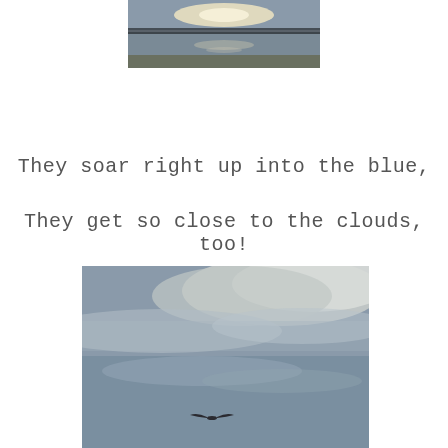[Figure (photo): A partially visible photo at the top of the page showing a bright reflective water surface or beach scene with light glinting off the water.]
They soar right up into the blue,
They get so close to the clouds, too!
[Figure (photo): A photo of an overcast sky with layered grey and white clouds. A single bird is visible in flight near the lower center of the image, soaring against the cloudy sky.]